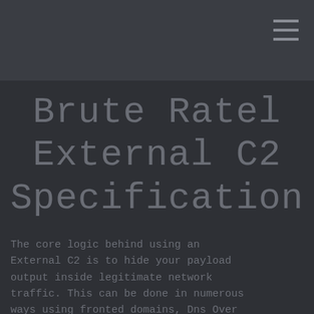Brute Ratel External C2 Specification
The core logic behind using an External C2 is to hide your payload output inside legitimate network traffic. This can be done in numerous ways using fronted domains, Dns Over Https or known redirectors such as